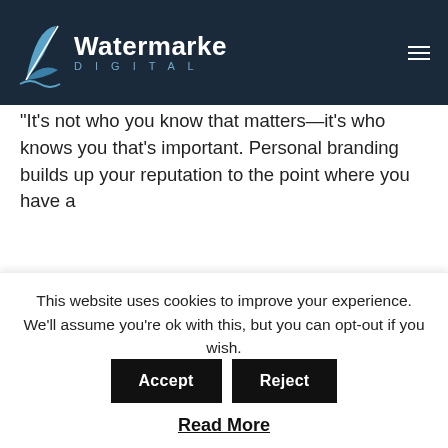Watermarke Digital
"It's not who you know that matters—it's who knows you that's important. Personal branding builds up your reputation to the point where you have a
Strategy
network strategy, networking, startups, success
This website uses cookies to improve your experience. We'll assume you're ok with this, but you can opt-out if you wish. Accept Reject
Read More